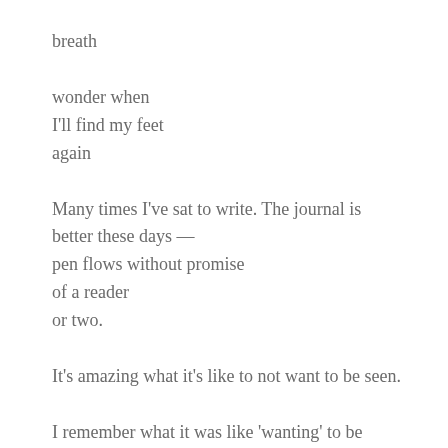breath
wonder when
I'll find my feet
again
Many times I've sat to write. The journal is
better these days —
pen flows without promise
of a reader
or two.
It's amazing what it's like to not want to be seen.
I remember what it was like 'wanting' to be
seen. The loudest, the proudest, the best at this